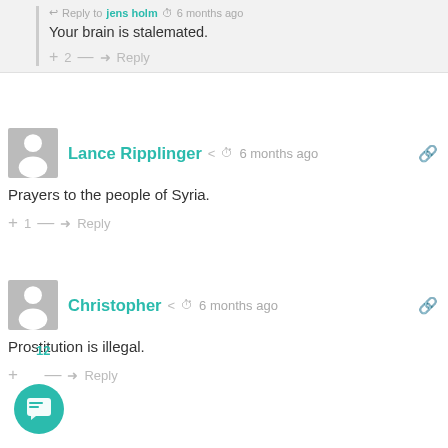Reply to jens holm · 6 months ago
Your brain is stalemated.
+ 2 — Reply
Lance Ripplinger · 6 months ago
Prayers to the people of Syria.
+ 1 — Reply
Christopher · 6 months ago
Prostitution is illegal.
12 — Reply